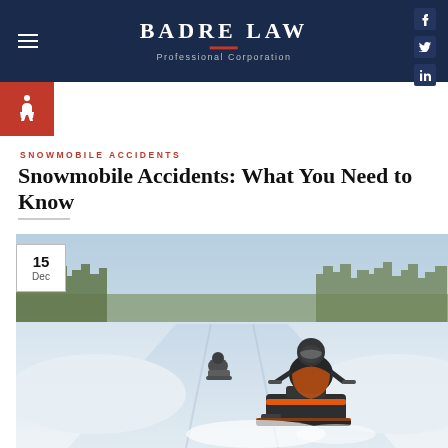BADRE LAW — Professional Corporation
[Figure (logo): Badre Law Professional Corporation logo with navy background, white text, red underline, and social media icons (Facebook, Twitter, LinkedIn)]
SNOWMOBILE ACCIDENTS
Snowmobile Accidents: What You Need to Know
[Figure (photo): Snowmobile riders on a snowy trail through a forested landscape in winter. Two riders visible, closest rider wearing black and orange gear with helmet. Date badge shows 15 Dec.]